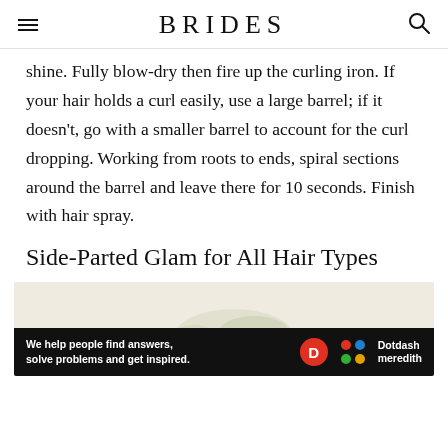BRIDES
shine. Fully blow-dry then fire up the curling iron. If your hair holds a curl easily, use a large barrel; if it doesn't, go with a smaller barrel to account for the curl dropping. Working from roots to ends, spiral sections around the barrel and leave there for 10 seconds. Finish with hair spray.
Side-Parted Glam for All Hair Types
[Figure (photo): Partial view of a hair style photo with floral elements on a cream/beige background, partially obscured by an advertisement banner at the bottom reading 'We help people find answers, solve problems and get inspired.' with Dotdash Meredith branding.]